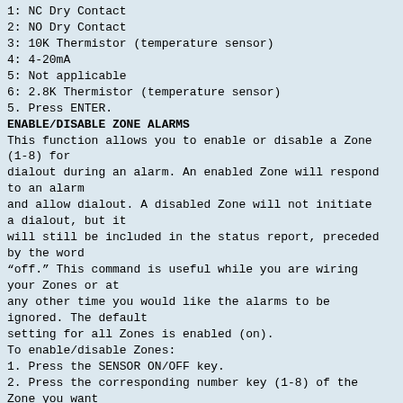1: NC Dry Contact
2: NO Dry Contact
3: 10K Thermistor (temperature sensor)
4: 4-20mA
5: Not applicable
6: 2.8K Thermistor (temperature sensor)
5. Press ENTER.
ENABLE/DISABLE ZONE ALARMS
This function allows you to enable or disable a Zone (1-8) for dialout during an alarm. An enabled Zone will respond to an alarm and allow dialout. A disabled Zone will not initiate a dialout, but it will still be included in the status report, preceded by the word “off.” This command is useful while you are wiring your Zones or at any other time you would like the alarms to be ignored. The default setting for all Zones is enabled (on).
To enable/disable Zones:
1. Press the SENSOR ON/OFF key.
2. Press the corresponding number key (1-8) of the Zone you want to enable/disable. FarmSitter will say “Off ” to indicate disabled
29
Sensaphone FARMSitter Manual
or “On” to indicate enabled.
3. Repeat key sequence to change.
ENABLE/DISABLE SOUND LEVEL ALARM
This function allows you to enable or disable the